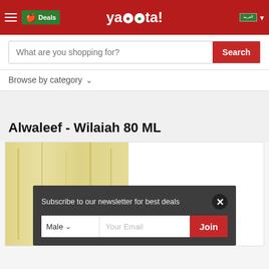yaoota! — Deals header bar with hamburger menu, deals badge, logo, flag and dropdown
What are you shopping for?
Search
Browse by category
Alwaleef - Wilaiah 80 ML
[Figure (photo): Product image of Alwaleef - Wilaiah 80 ML, showing a yellowish/golden textured box]
Subscribe to our newsletter for best deals
Male  Your Email  Join